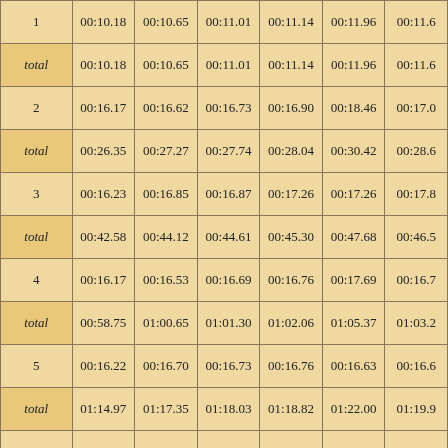|  | col1 | col2 | col3 | col4 | col5 | col6 |
| --- | --- | --- | --- | --- | --- | --- |
| 1 | 00:10.18 | 00:10.65 | 00:11.01 | 00:11.14 | 00:11.96 | 00:11.6 |
| total | 00:10.18 | 00:10.65 | 00:11.01 | 00:11.14 | 00:11.96 | 00:11.6 |
| 2 | 00:16.17 | 00:16.62 | 00:16.73 | 00:16.90 | 00:18.46 | 00:17.0 |
| total | 00:26.35 | 00:27.27 | 00:27.74 | 00:28.04 | 00:30.42 | 00:28.6 |
| 3 | 00:16.23 | 00:16.85 | 00:16.87 | 00:17.26 | 00:17.26 | 00:17.8 |
| total | 00:42.58 | 00:44.12 | 00:44.61 | 00:45.30 | 00:47.68 | 00:46.5 |
| 4 | 00:16.17 | 00:16.53 | 00:16.69 | 00:16.76 | 00:17.69 | 00:16.7 |
| total | 00:58.75 | 01:00.65 | 01:01.30 | 01:02.06 | 01:05.37 | 01:03.2 |
| 5 | 00:16.22 | 00:16.70 | 00:16.73 | 00:16.76 | 00:16.63 | 00:16.6 |
| total | 01:14.97 | 01:17.35 | 01:18.03 | 01:18.82 | 01:22.00 | 01:19.9 |
| 6 | 00:16.36 | 00:16.82 | 00:16.69 | 00:16.72 | 00:17.14 | 00:16.7 |
| total | 01:31.33 | 01:34.17 | 01:34.72 | 01:35.54 | 01:39.14 | 01:36.7 |
| 7 | 00:16.44 | 00:16.57 | 00:16.66 | 00:16.67 | 00:16.93 | 00:16.8 |
| total | 01:47.77 | 01:50.74 | 01:51.38 | 01:52.21 | 01:56.07 | 01:53.6 |
| 8 | 00:16.26 | 00:16.78 | 00:16.61 | 00:16.82 | 00:16.91 | 00:17.1 |